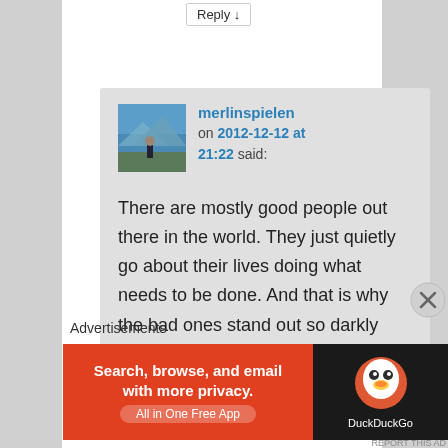Reply ↓
merlinspielen on 2012-12-12 at 21:22 said:
There are mostly good people out there in the world. They just quietly go about their lives doing what needs to be done. And that is why the bad ones stand out so darkly against that bright background light of the goodness that fills the world.
Advertisements
[Figure (screenshot): DuckDuckGo advertisement banner: orange left panel reading 'Search, browse, and email with more privacy. All in One Free App', black right panel with DuckDuckGo duck logo]